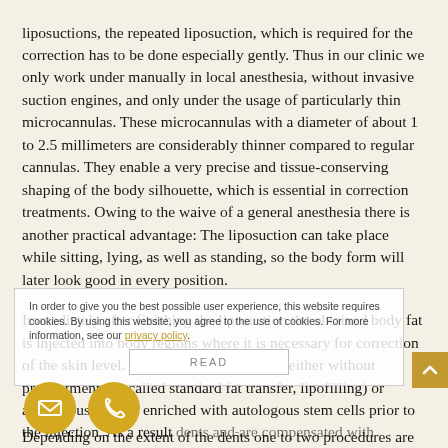liposuctions, the repeated liposuction, which is required for the correction has to be done especially gently. Thus in our clinic we only work under manually in local anesthesia, without invasive suction engines, and only under the usage of particularly thin microcannulas. These microcannulas with a diameter of about 1 to 2.5 millimeters are considerably thinner compared to regular cannulas. They enable a very precise and tissue-conserving shaping of the body silhouette, which is essential in correction treatments. Owing to the waive of a general anesthesia there is another practical advantage: The liposuction can take place while sitting, lying, as well as standing, so the body form will later look good in every position.
Immediately after finishing the liposuction the obtained body fat is injected into body regions where it is necessary for correction of the skin level. Fat can therefore be used either without pretreatment (so-called standard fat transfer, lipofilling) or autologous fat gets enriched with autologous stem cells prior to the injection. As a result dents are compensated with harvested body fat and a smooth silhouette is recreated.
In order to give you the best possible user experience, this website requires cookies. By using this website, you agree to the use of cookies. For more information, see our privacy policy.
Depending on the extent of the dents one to two procedures are